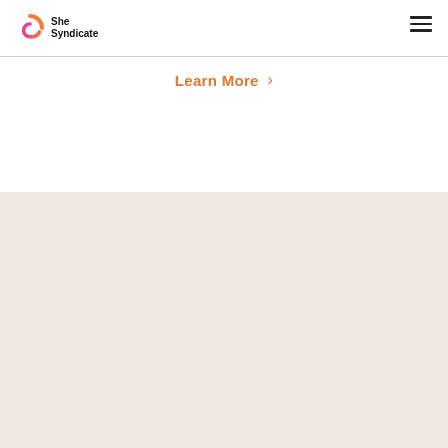[Figure (logo): She Syndicate logo — stylized S in pink/orange gradient with 'She Syndicate' text]
Learn More ›
IMPACT LEADER SPOTLIGHT
From our working group members
[Figure (photo): Circular portrait photo of a young woman with long brown hair]